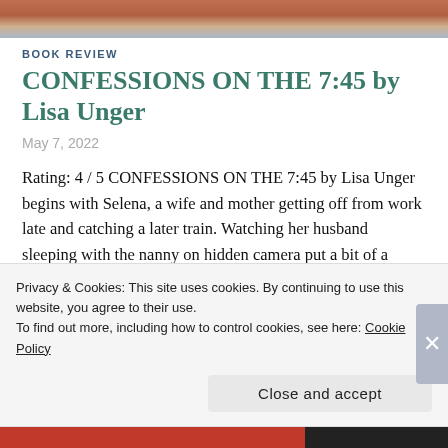[Figure (photo): Top portion of a book cover image showing partial faces and hair, cropped.]
BOOK REVIEW
CONFESSIONS ON THE 7:45 by Lisa Unger
May 7, 2022
Rating: 4 / 5 CONFESSIONS ON THE 7:45 by Lisa Unger begins with Selena, a wife and mother getting off from work late and catching a later train. Watching her husband sleeping with the nanny on hidden camera put a bit of a delay in her day. The
Privacy & Cookies: This site uses cookies. By continuing to use this website, you agree to their use.
To find out more, including how to control cookies, see here: Cookie Policy
Close and accept